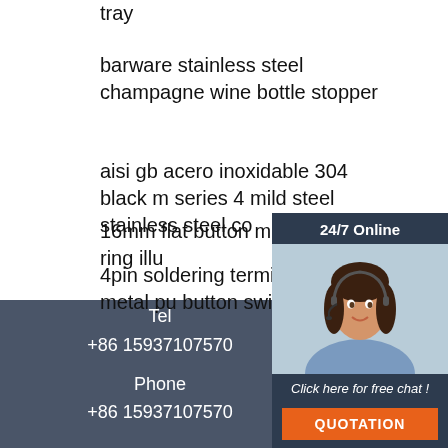tray
barware stainless steel champagne wine bottle stopper
aisi gb acero inoxidable 304 black m series 4 mild steel stainless steel co
16mm flat button momentary ring illu
4pin soldering terminal 10a metal pu button switch
[Figure (infographic): Chat widget overlay with '24/7 Online' header, photo of woman with headset, 'Click here for free chat!' text, and orange QUOTATION button]
Tel
+86 15937107570
Phone
+86 15937107570
[Figure (logo): TOP logo with orange triangle/dots design and orange text 'TOP']